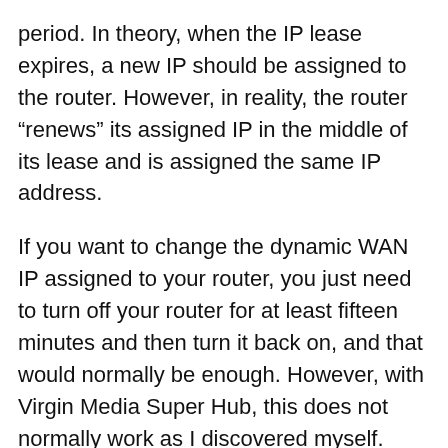period. In theory, when the IP lease expires, a new IP should be assigned to the router. However, in reality, the router “renews” its assigned IP in the middle of its lease and is assigned the same IP address.
If you want to change the dynamic WAN IP assigned to your router, you just need to turn off your router for at least fifteen minutes and then turn it back on, and that would normally be enough. However, with Virgin Media Super Hub, this does not normally work as I discovered myself.